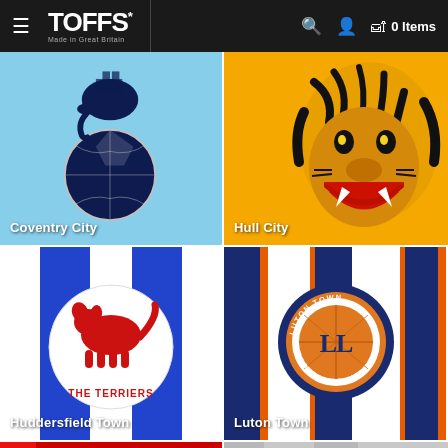TOFFS* Made in Great Britain — 0 Items
[Figure (photo): Coventry City retro football shirt closeup showing dark navy elephant crest on sky blue fabric with football]
Coventry City
[Figure (photo): Hull City retro football shirt closeup showing roaring tiger head on amber/gold fabric]
Hull City
[Figure (photo): Huddersfield Town retro football shirt closeup with white and blue vertical stripes and The Terriers badge showing red terrier dog]
Huddersfield Town
[Figure (photo): Luton Town retro football shirt closeup with white and navy vertical stripes and orange accents, showing Luton Town Football Club circular badge]
Luton Town